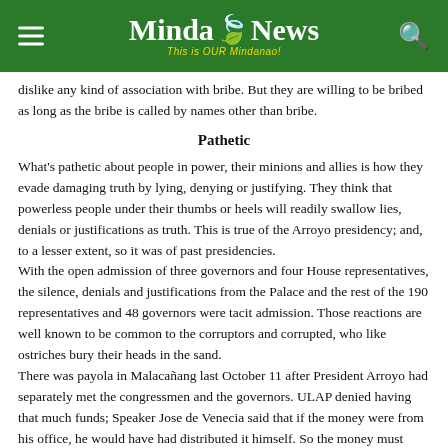MindaNews – This is OUR Mindanao!
dislike any kind of association with bribe. But they are willing to be bribed as long as the bribe is called by names other than bribe.
Pathetic
What's pathetic about people in power, their minions and allies is how they evade damaging truth by lying, denying or justifying. They think that powerless people under their thumbs or heels will readily swallow lies, denials or justifications as truth. This is true of the Arroyo presidency; and, to a lesser extent, so it was of past presidencies.
With the open admission of three governors and four House representatives, the silence, denials and justifications from the Palace and the rest of the 190 representatives and 48 governors were tacit admission. Those reactions are well known to be common to the corruptors and corrupted, who like ostriches bury their heads in the sand.
There was payola in Malacañang last October 11 after President Arroyo had separately met the congressmen and the governors. ULAP denied having that much funds; Speaker Jose de Venecia said that if the money were from his office, he would have had distributed it himself. So the money must have been sourced from the Palace or elsewhere and brought to the Palace.